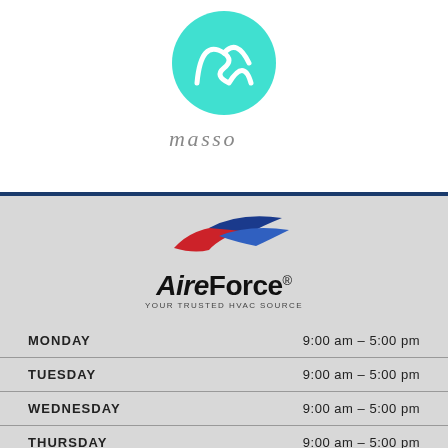[Figure (logo): Masso brand logo: teal/cyan circle with a stylized white script 'M' or cursive letter, with the word 'masso' in gray italic serif below]
[Figure (logo): AireForce logo with red and blue swoosh/wing graphics above bold text 'AireForce®' and tagline 'Your Trusted HVAC Source']
| Day | Hours |
| --- | --- |
| MONDAY | 9:00 am – 5:00 pm |
| TUESDAY | 9:00 am – 5:00 pm |
| WEDNESDAY | 9:00 am – 5:00 pm |
| THURSDAY | 9:00 am – 5:00 pm |